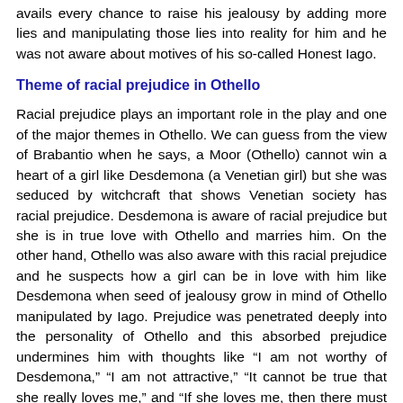avails every chance to raise his jealousy by adding more lies and manipulating those lies into reality for him and he was not aware about motives of his so-called Honest Iago.
Theme of racial prejudice in Othello
Racial prejudice plays an important role in the play and one of the major themes in Othello. We can guess from the view of Brabantio when he says, a Moor (Othello) cannot win a heart of a girl like Desdemona (a Venetian girl) but she was seduced by witchcraft that shows Venetian society has racial prejudice. Desdemona is aware of racial prejudice but she is in true love with Othello and marries him. On the other hand, Othello was also aware with this racial prejudice and he suspects how a girl can be in love with him like Desdemona when seed of jealousy grow in mind of Othello manipulated by Iago. Prejudice was penetrated deeply into the personality of Othello and this absorbed prejudice undermines him with thoughts like “I am not worthy of Desdemona,” “I am not attractive,” “It cannot be true that she really loves me,” and “If she loves me, then there must be something wrong with her.” These thoughts were fixed into the mind of Othello by